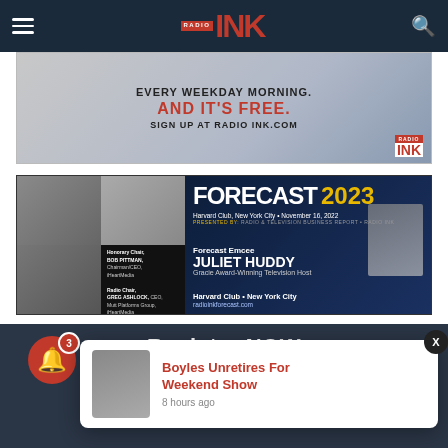Radio Ink
[Figure (advertisement): Radio Ink newsletter signup ad: EVERY WEEKDAY MORNING. AND IT'S FREE. SIGN UP AT RADIO INK.COM]
[Figure (advertisement): Forecast 2023 event ad. Harvard Club, New York City. November 16, 2022. Presented by Radio & Television Business Report / Radio Ink. Honorary Chair Bob Pittman, Chairman/CEO iHeartMedia. Radio Chair Greg Ashlock, CEO, Mutt Platforms Group, iHeartMedia. TV Chair Jordan Wertlieb, President, Hearst Television. Forecast Emcee Juliet Huddy, Gracie Award-Winning Television Host. radioinkforecast.com]
Register NOW
SELL MORE!
Boyles Unretires For Weekend Show
8 hours ago